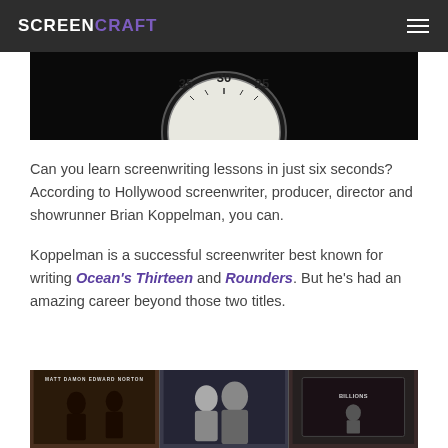SCREENCRAFT
[Figure (photo): Close-up of a stopwatch face showing numbers 35, 30, 25 on a dark background]
Can you learn screenwriting lessons in just six seconds? According to Hollywood screenwriter, producer, director and showrunner Brian Koppelman, you can.
Koppelman is a successful screenwriter best known for writing Ocean's Thirteen and Rounders. But he's had an amazing career beyond those two titles.
[Figure (photo): Collage of three film images: Matt Damon and Edward Norton movie poster, a man and woman in film still, and a movie poster]